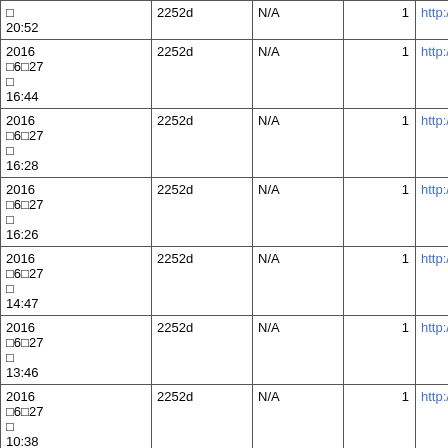| Date | ID | Status | Count | URL |
| --- | --- | --- | --- | --- |
| □
20:52 | 2252d | N/A | 1 | http://search.yahoo.co.jp/search?ei=U... |
| 2016
□6□27
□
16:44 | 2252d | N/A | 1 | http://www.google.co.jp/url?sa=t&rct=j&... |
| 2016
□6□27
□
16:28 | 2252d | N/A | 1 | http://www.google.co.jp/url?sa=t&rct=j&... |
| 2016
□6□27
□
16:26 | 2252d | N/A | 1 | http://www.google.co.jp/url?sa=t&rct=j&... |
| 2016
□6□27
□
14:47 | 2252d | N/A | 1 | http://www.google.co.jp/url?sa=t&rct=j&... |
| 2016
□6□27
□
13:46 | 2252d | N/A | 1 | http://www.google.co.jp/url?sa=t&rct=j&... |
| 2016
□6□27
□
10:38 | 2252d | N/A | 1 | http://www.google.co.jp/url?sa=t&rct=j&... |
| 2016
□6□27 |  |  |  |  |